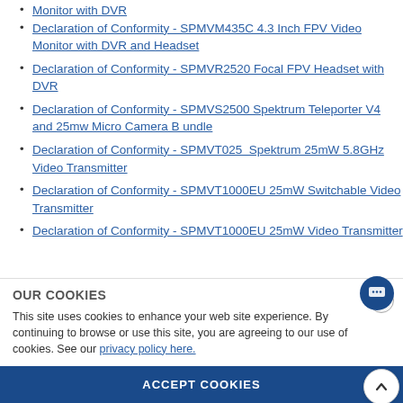Declaration of Conformity - SPMVM435C 4.3 Inch FPV Video Monitor with DVR and Headset
Declaration of Conformity - SPMVR2520 Focal FPV Headset with DVR
Declaration of Conformity - SPMVS2500 Spektrum Teleporter V4 and 25mw Micro Camera B undle
Declaration of Conformity - SPMVT025  Spektrum 25mW 5.8GHz Video Transmitter
Declaration of Conformity - SPMVT1000EU 25mW Switchable Video Transmitter
Declaration of Conformity - SPMVT1000EU 25mW Video Transmitter
OUR COOKIES
This site uses cookies to enhance your web site experience. By continuing to browse or use this site, you are agreeing to our use of cookies. See our privacy policy here.
ACCEPT COOKIES